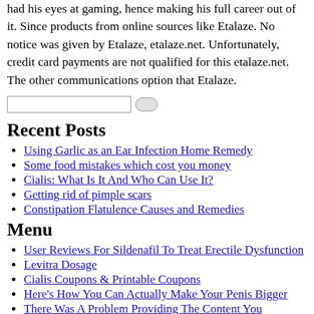had his eyes at gaming, hence making his full career out of it. Since products from online sources like Etalaze. No notice was given by Etalaze, etalaze.net. Unfortunately, credit card payments are not qualified for this etalaze.net. The other communications option that Etalaze.
Recent Posts
Using Garlic as an Ear Infection Home Remedy
Some food mistakes which cost you money
Cialis: What Is It And Who Can Use It?
Getting rid of pimple scars
Constipation Flatulence Causes and Remedies
Menu
User Reviews For Sildenafil To Treat Erectile Dysfunction
Levitra Dosage
Cialis Coupons & Printable Coupons
Here's How You Can Actually Make Your Penis Bigger
There Was A Problem Providing The Content You Requested
Viagra Non Prescription